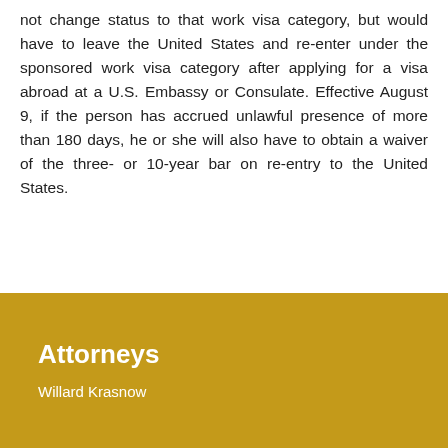not change status to that work visa category, but would have to leave the United States and re-enter under the sponsored work visa category after applying for a visa abroad at a U.S. Embassy or Consulate. Effective August 9, if the person has accrued unlawful presence of more than 180 days, he or she will also have to obtain a waiver of the three- or 10-year bar on re-entry to the United States.
For a printer-friendly copy, click here.
Attorneys
Willard Krasnow